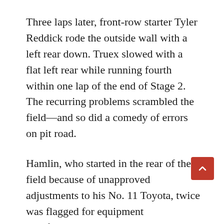Three laps later, front-row starter Tyler Reddick rode the outside wall with a left rear down. Truex slowed with a flat left rear while running fourth within one lap of the end of Stage 2. The recurring problems scrambled the field—and so did a comedy of errors on pit road.
Hamlin, who started in the rear of the field because of unapproved adjustments to his No. 11 Toyota, twice was flagged for equipment interference.
Kyle Busch came to pit road as the leader on Lap 83 and lost nine positions after stopping his No. 18 Camry too close to the wall. After finishing second to his brother in Stage 2, he drew a pit road speeding